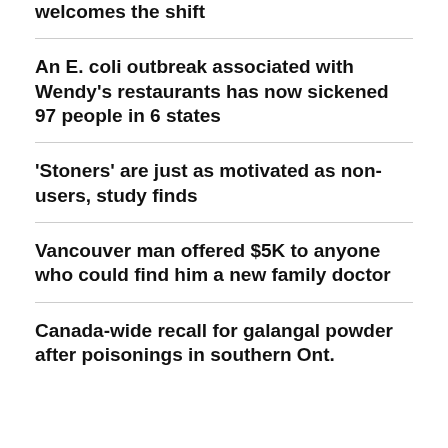welcomes the shift
An E. coli outbreak associated with Wendy's restaurants has now sickened 97 people in 6 states
'Stoners' are just as motivated as non-users, study finds
Vancouver man offered $5K to anyone who could find him a new family doctor
Canada-wide recall for galangal powder after poisonings in southern Ont.